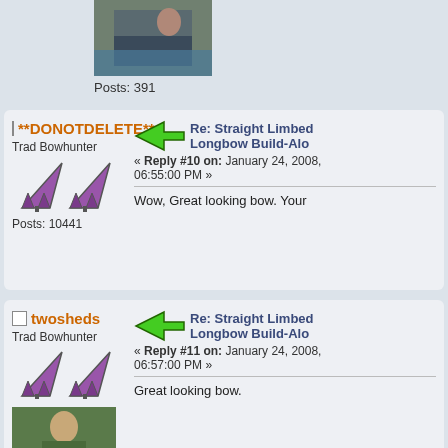Posts: 391
**DONOTDELETE**
Trad Bowhunter
Posts: 10441
Re: Straight Limbed Longbow Build-Alo
« Reply #10 on: January 24, 2008, 06:55:00 PM »
Wow, Great looking bow. Your
twosheds
Trad Bowhunter
Re: Straight Limbed Longbow Build-Alo
« Reply #11 on: January 24, 2008, 06:57:00 PM »
Great looking bow.